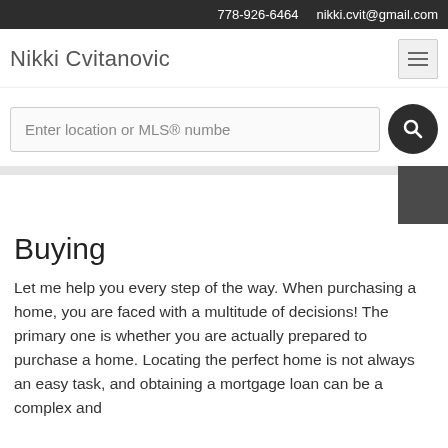778-926-6464   nikki.cvit@gmail.com
Nikki Cvitanovic
Enter location or MLS® numbe
Buying
Let me help you every step of the way. When purchasing a home, you are faced with a multitude of decisions! The primary one is whether you are actually prepared to purchase a home. Locating the perfect home is not always an easy task, and obtaining a mortgage loan can be a complex and